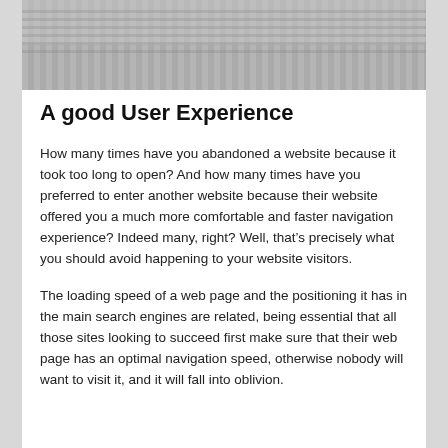[Figure (photo): Photo of wooden letter tiles spelling SEO on a striped surface, partially cropped at top]
A good User Experience
How many times have you abandoned a website because it took too long to open? And how many times have you preferred to enter another website because their website offered you a much more comfortable and faster navigation experience? Indeed many, right? Well, that’s precisely what you should avoid happening to your website visitors.
The loading speed of a web page and the positioning it has in the main search engines are related, being essential that all those sites looking to succeed first make sure that their web page has an optimal navigation speed, otherwise nobody will want to visit it, and it will fall into oblivion.